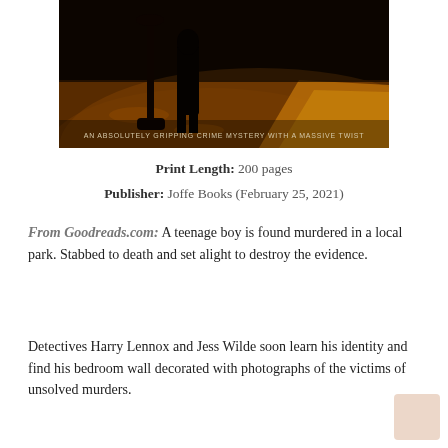[Figure (photo): Book cover photo: dark atmospheric park scene at night with orange/amber tones, silhouette of person standing near lamp post, path visible, text overlay reading 'AN ABSOLUTELY GRIPPING CRIME MYSTERY WITH A MASSIVE TWIST']
Print Length: 200 pages
Publisher: Joffe Books (February 25, 2021)
From Goodreads.com: A teenage boy is found murdered in a local park. Stabbed to death and set alight to destroy the evidence.
Detectives Harry Lennox and Jess Wilde soon learn his identity and find his bedroom wall decorated with photographs of the victims of unsolved murders.